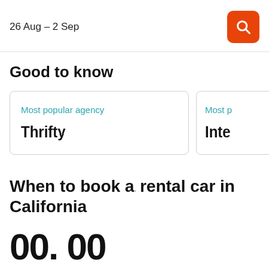26 Aug – 2 Sep
Good to know
Most popular agency
Thrifty
Most p...
Inte...
When to book a rental car in California